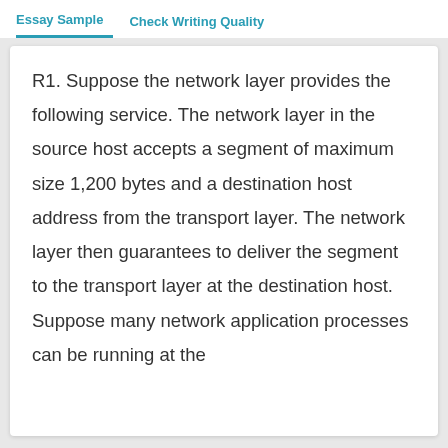Essay Sample   Check Writing Quality
R1. Suppose the network layer provides the following service. The network layer in the source host accepts a segment of maximum size 1,200 bytes and a destination host address from the transport layer. The network layer then guarantees to deliver the segment to the transport layer at the destination host. Suppose many network application processes can be running at the